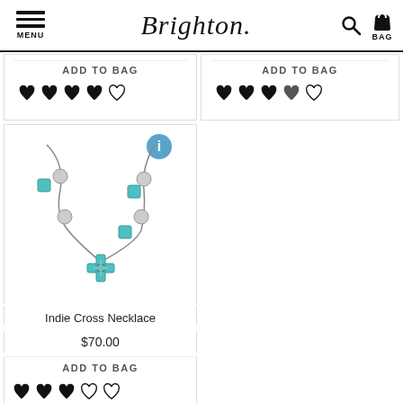Brighton. MENU | Search | BAG
[Figure (screenshot): Partial product card 1 top row: ADD TO BAG button and 4.5 star hearts rating]
[Figure (screenshot): Partial product card 2 top row: ADD TO BAG button and 4.5 star hearts rating]
[Figure (photo): Brighton Indie Cross Necklace - silver chain necklace with turquoise cross and gemstone charms]
Indie Cross Necklace
$70.00
ADD TO BAG
[Figure (other): 3 out of 5 hearts rating]